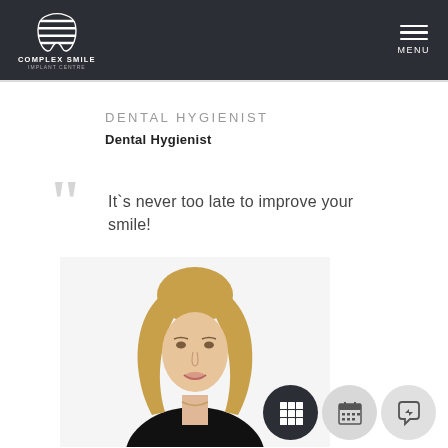[Figure (logo): Complex Smile Implant Centre logo — white tooth shield icon with horizontal stripes, white text 'COMPLEX SMILE' and 'IMPLANT CENTRE' below, on dark background]
DENTAL HYGIENIST
Dental Hygienist
It's never too late to improve your smile!
[Figure (photo): Professional photo of a blonde woman in a black top, smiling, against a white background — a dental hygienist staff member]
[Figure (infographic): Bottom right icons: dark circle with grid/calendar icon, light circle with calendar icon, light circle with chat/messenger icon]